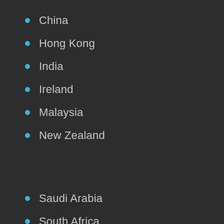China
Hong Kong
India
Ireland
Malaysia
New Zealand
Saudi Arabia
South Africa
Spain
Sweden
United Arab Emirates
United Kingdom